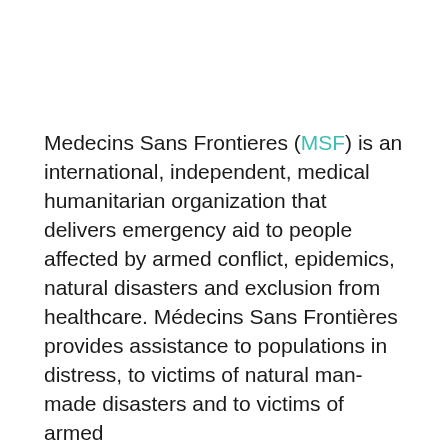Medecins Sans Frontieres (MSF) is an international, independent, medical humanitarian organization that delivers emergency aid to people affected by armed conflict, epidemics, natural disasters and exclusion from healthcare. Médecins Sans Frontières provides assistance to populations in distress, to victims of natural man-made disasters and to victims of armed